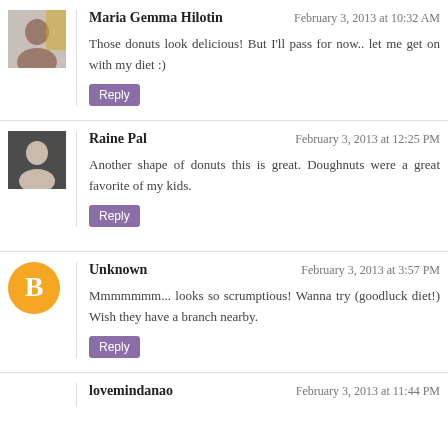[Figure (photo): Avatar photo of Maria Gemma Hilotin]
Maria Gemma Hilotin
February 3, 2013 at 10:32 AM
Those donuts look delicious! But I'll pass for now.. let me get on with my diet :)
Reply
[Figure (photo): Avatar photo of Raine Pal]
Raine Pal
February 3, 2013 at 12:25 PM
Another shape of donuts this is great. Doughnuts were a great favorite of my kids.
Reply
[Figure (logo): Blogger icon (orange circle with B) for Unknown commenter]
Unknown
February 3, 2013 at 3:57 PM
Mmmmmmm... looks so scrumptious! Wanna try (goodluck diet!) Wish they have a branch nearby.
Reply
lovemindanao
February 3, 2013 at 11:44 PM